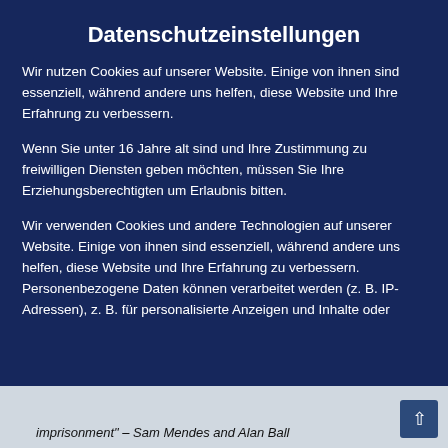character of leading characters revolve around." – Ron Burrus
Datenschutzeinstellungen
Wir nutzen Cookies auf unserer Website. Einige von ihnen sind essenziell, während andere uns helfen, diese Website und Ihre Erfahrung zu verbessern.
Wenn Sie unter 16 Jahre alt sind und Ihre Zustimmung zu freiwilligen Diensten geben möchten, müssen Sie Ihre Erziehungsberechtigten um Erlaubnis bitten.
Wir verwenden Cookies und andere Technologien auf unserer Website. Einige von ihnen sind essenziell, während andere uns helfen, diese Website und Ihre Erfahrung zu verbessern. Personenbezogene Daten können verarbeitet werden (z. B. IP-Adressen), z. B. für personalisierte Anzeigen und Inhalte oder
Essenziell
Externe Medien
Alle akzeptieren
imprisonment" – Sam Mendes and Alan Ball